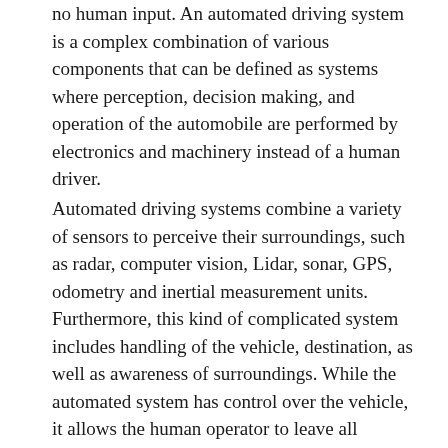no human input. An automated driving system is a complex combination of various components that can be defined as systems where perception, decision making, and operation of the automobile are performed by electronics and machinery instead of a human driver.
Automated driving systems combine a variety of sensors to perceive their surroundings, such as radar, computer vision, Lidar, sonar, GPS, odometry and inertial measurement units. Furthermore, this kind of complicated system includes handling of the vehicle, destination, as well as awareness of surroundings. While the automated system has control over the vehicle, it allows the human operator to leave all responsibilities to the system. Advanced control systems interpret sensory information to identify appropriate navigation paths, as well as obstacles and relevant signage.